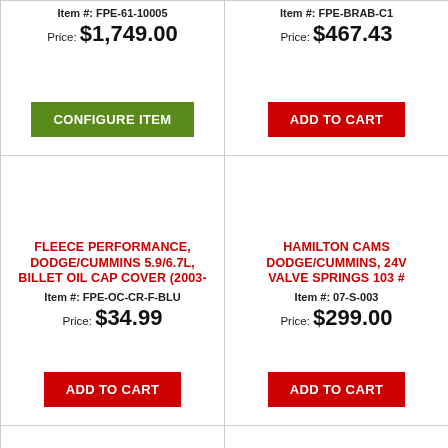Item #: FPE-61-10005
Price: $1,749.00
CONFIGURE ITEM
Item #: FPE-BRAB-C1
Price: $467.43
ADD TO CART
FLEECE PERFORMANCE, DODGE/CUMMINS 5.9/6.7L, BILLET OIL CAP COVER (2003-
Item #: FPE-OC-CR-F-BLU
Price: $34.99
ADD TO CART
HAMILTON CAMS DODGE/CUMMINS, 24V VALVE SPRINGS 103 #
Item #: 07-S-003
Price: $299.00
ADD TO CART